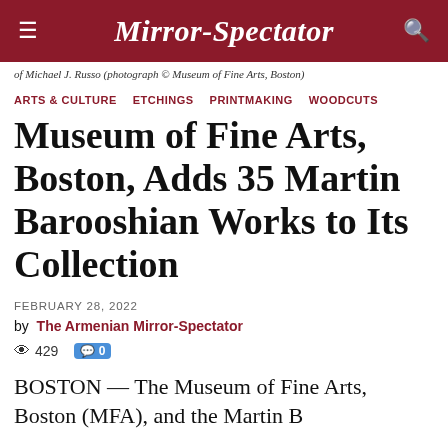Mirror-Spectator
of Michael J. Russo (photograph © Museum of Fine Arts, Boston)
ARTS & CULTURE   ETCHINGS   PRINTMAKING   WOODCUTS
Museum of Fine Arts, Boston, Adds 35 Martin Barooshian Works to Its Collection
FEBRUARY 28, 2022
by The Armenian Mirror-Spectator
429   0
BOSTON — The Museum of Fine Arts, Boston (MFA), and the Martin Barooshian Art Trust are pleased to